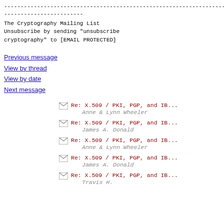---------------------------------------------------------------------
------------------------
The Cryptography Mailing List
Unsubscribe by sending "unsubscribe cryptography" to [EMAIL PROTECTED]
Previous message
View by thread
View by date
Next message
Re: X.509 / PKI, PGP, and IB... — Anne & Lynn Wheeler
Re: X.509 / PKI, PGP, and IB... — James A. Donald
Re: X.509 / PKI, PGP, and IB... — Anne & Lynn Wheeler
Re: X.509 / PKI, PGP, and IB... — James A. Donald
Re: X.509 / PKI, PGP, and IB... — Travis H.